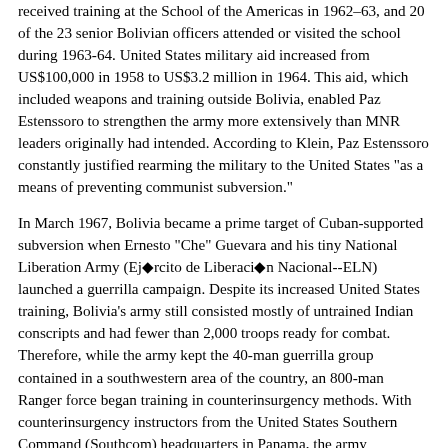received training at the School of the Americas in 1962-63, and 20 of the 23 senior Bolivian officers attended or visited the school during 1963-64. United States military aid increased from US$100,000 in 1958 to US$3.2 million in 1964. This aid, which included weapons and training outside Bolivia, enabled Paz Estenssoro to strengthen the army more extensively than MNR leaders originally had intended. According to Klein, Paz Estenssoro constantly justified rearming the military to the United States "as a means of preventing communist subversion."
In March 1967, Bolivia became a prime target of Cuban-supported subversion when Ernesto "Che" Guevara and his tiny National Liberation Army (Ejército de Liberación Nacional--ELN) launched a guerrilla campaign. Despite its increased United States training, Bolivia's army still consisted mostly of untrained Indian conscripts and had fewer than 2,000 troops ready for combat. Therefore, while the army kept the 40-man guerrilla group contained in a southwestern area of the country, an 800-man Ranger force began training in counterinsurgency methods. With counterinsurgency instructors from the United States Southern Command (Southcom) headquarters in Panama, the army established a Ranger School in Santa Cruz Department. By late July 1967, three well-trained and well-equipped Bolivian Ranger battalions were ready for action. Supported by these special troops, units of the Eighth Division closed in on Guevara's demoralized, ill-equipped, and poorly supplied band. Guevara's capture and